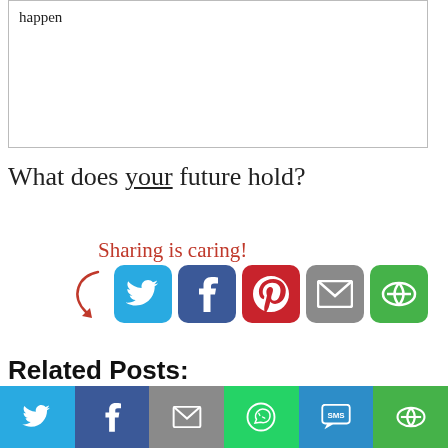happen
What does your future hold?
[Figure (infographic): Sharing is caring! label with arrow and social share buttons: Twitter (blue), Facebook (dark blue), Pinterest (red), Email (grey), More (green)]
Related Posts:
No Related Posts
Filed Under: Fitness, Old Blog Entries
[Figure (infographic): Bottom social sharing bar with Twitter, Facebook, Email, WhatsApp, SMS, and More buttons]